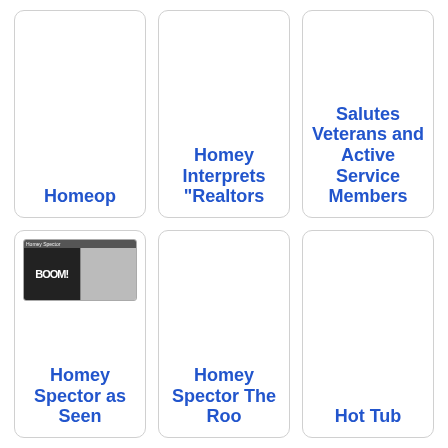[Figure (illustration): Card with truncated title 'Homeop...' and empty image area]
Homeop...
[Figure (illustration): Card with truncated title 'Homey Interprets "Realtors...' and empty image area]
Homey Interprets "Realtors...
[Figure (illustration): Card with title 'Salutes Veterans and Active Service Members' and empty image area]
Salutes Veterans and Active Service Members
[Figure (illustration): Card with comic strip thumbnail showing 'BOOM' panel, title 'Homey Spector as Seen...']
Homey Spector as Seen...
[Figure (illustration): Card with truncated title 'Homey Spector The Roo...' and empty image area]
Homey Spector The Roo...
[Figure (illustration): Card with truncated title 'Hot Tub...' and empty image area]
Hot Tub...